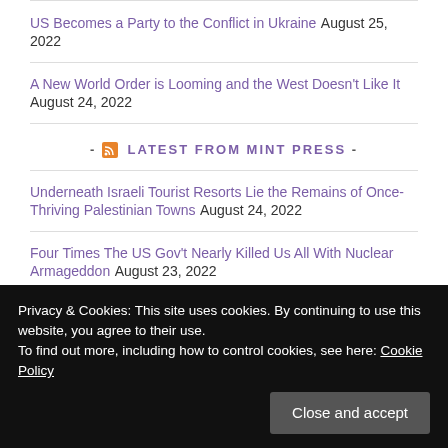US Becomes a Party to the Conflict in Ukraine August 25, 2022
A New World Order is Looming and the West Doesn't Like It August 24, 2022
- LATEST FROM MINT PRESS -
Underneath Israeli Tourist Resorts Lie the Remains of Once-Thriving Palestinian Towns August 24, 2022
Four Times The US Gov't Nearly Killed Us All With Nuclear Armageddon August 23, 2022
Privacy & Cookies: This site uses cookies. By continuing to use this website, you agree to their use.
To find out more, including how to control cookies, see here: Cookie Policy
How One Spook-Run London College Department is Training